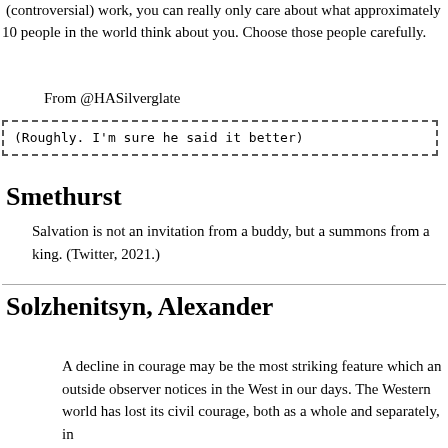(controversial) work, you can really only care about what approximately 10 people in the world think about you. Choose those people carefully.
From @HASilverglate
(Roughly. I'm sure he said it better)
Smethurst
Salvation is not an invitation from a buddy, but a summons from a king. (Twitter, 2021.)
Solzhenitsyn, Alexander
A decline in courage may be the most striking feature which an outside observer notices in the West in our days. The Western world has lost its civil courage, both as a whole and separately, in